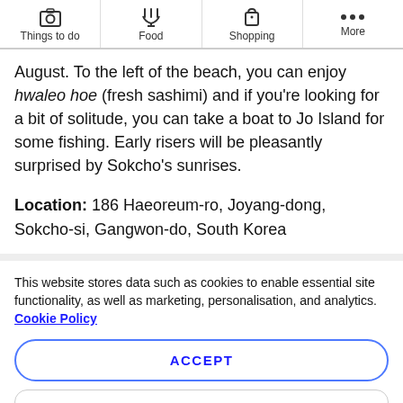Things to do | Food | Shopping | More
August. To the left of the beach, you can enjoy hwaleo hoe (fresh sashimi) and if you're looking for a bit of solitude, you can take a boat to Jo Island for some fishing. Early risers will be pleasantly surprised by Sokcho's sunrises.

Location: 186 Haeoreum-ro, Joyang-dong, Sokcho-si, Gangwon-do, South Korea
This website stores data such as cookies to enable essential site functionality, as well as marketing, personalisation, and analytics. Cookie Policy
ACCEPT